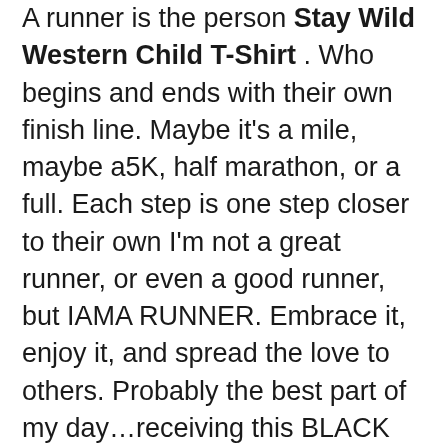A runner is the person Stay Wild Western Child T-Shirt . Who begins and ends with their own finish line. Maybe it's a mile, maybe a5K, half marathon, or a full. Each step is one step closer to their own I'm not a great runner, or even a good runner, but IAMA RUNNER. Embrace it, enjoy it, and spread the love to others. Probably the best part of my day…receiving this BLACK CARD in a pocket briefcase from my college dreams achieved. Hey Cowboys fans, you can score a free Jumbo Jack from Jack in the Box with any purchase the day After game day when the Cowboys score inthe first quarter. Your head is spinning with definitions that have laid out the yellow brick road before you and this projection of your imagining is all that you perceive before you